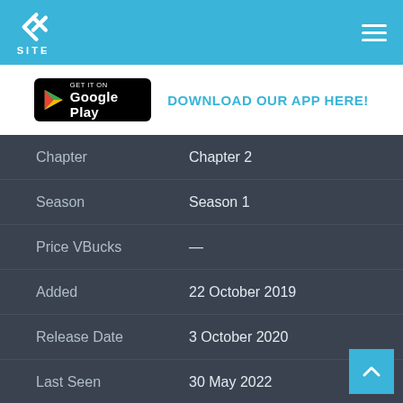X SITE
[Figure (logo): X SITE logo with hamburger menu on blue header bar]
DOWNLOAD OUR APP HERE!
| Field | Value |
| --- | --- |
| Chapter | Chapter 2 |
| Season | Season 1 |
| Price VBucks | — |
| Added | 22 October 2019 |
| Release Date | 3 October 2020 |
| Last Seen | 30 May 2022 |